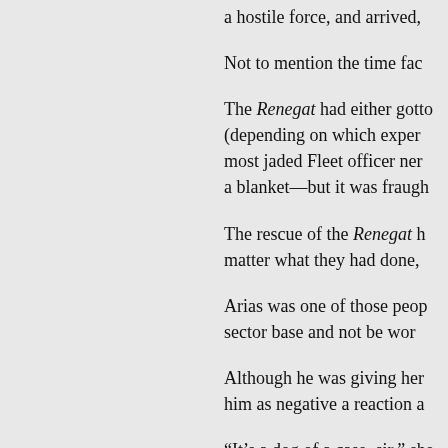a hostile force, and arrived,
Not to mention the time fac
The Renegat had either gotto (depending on which exper most jaded Fleet officer ner a blanket—but it was fraugh
The rescue of the Renegat h matter what they had done,
Arias was one of those peop sector base and not be wor
Although he was giving her him as negative a reaction a
“It’s a dog of a case, sir,” she takes it.”
The wrinkles in his face smo better of it.
“So,” he said, “you think wh